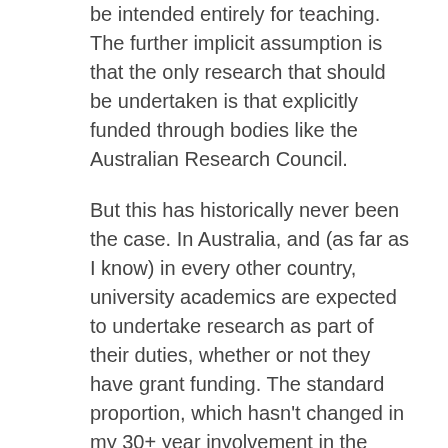be intended entirely for teaching. The further implicit assumption is that the only research that should be undertaken is that explicitly funded through bodies like the Australian Research Council.
But this has historically never been the case. In Australia, and (as far as I know) in every other country, university academics are expected to undertake research as part of their duties, whether or not they have grant funding. The standard proportion, which hasn't changed in my 30+ year involvement in the system is 80 per cent teaching (and associated service), 20 per cent research, which appears to be exactly the proportion cited by Norton.
It's true that more transparency in the allocation of resources between teaching and research would be a good thing, if it were feasible. But as the travails of